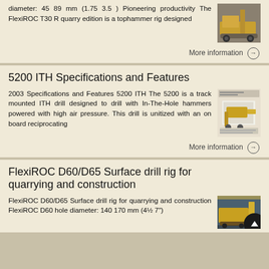diameter: 45 89 mm (1.75 3.5 ) Pioneering productivity The FlexiROC T30 R quarry edition is a tophammer rig designed
More information →
5200 ITH Specifications and Features
2003 Specifications and Features 5200 ITH The 5200 is a track mounted ITH drill designed to drill with In-The-Hole hammers powered with high air pressure. This drill is unitized with an on board reciprocating
More information →
FlexiROC D60/D65 Surface drill rig for quarrying and construction
FlexiROC D60/D65 Surface drill rig for quarrying and construction FlexiROC D60 hole diameter: 140 170 mm (4½ 7")